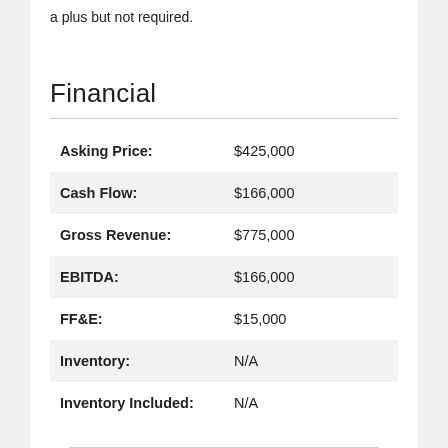a plus but not required.
Financial
| Asking Price: | $425,000 |
| Cash Flow: | $166,000 |
| Gross Revenue: | $775,000 |
| EBITDA: | $166,000 |
| FF&E: | $15,000 |
| Inventory: | N/A |
| Inventory Included: | N/A |